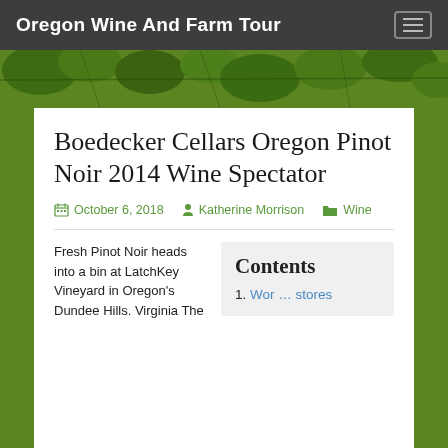Oregon Wine And Farm Tour
[Figure (photo): Vineyard grape leaves banner photo]
Boedecker Cellars Oregon Pinot Noir 2014 Wine Spectator
October 6, 2018   Katherine Morrison   Wine
Fresh Pinot Noir heads into a bin at LatchKey Vineyard in Oregon's Dundee Hills. Virginia The
Contents
1. Wor … stores